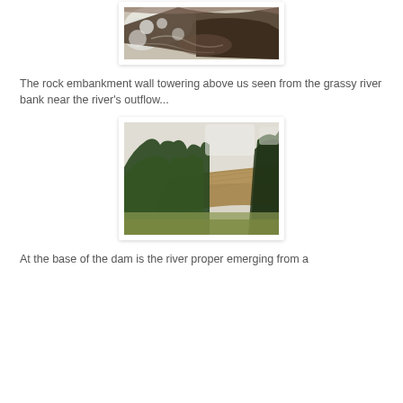[Figure (photo): Close-up photo of turbulent water flowing over dark rock, shot from above showing white foam and swirling dark water.]
The rock embankment wall towering above us seen from the grassy river bank near the river's outflow...
[Figure (photo): Photo of a large rock embankment/dam wall seen from below, with green trees in the foreground and a pale overcast sky above.]
At the base of the dam is the river proper emerging from a